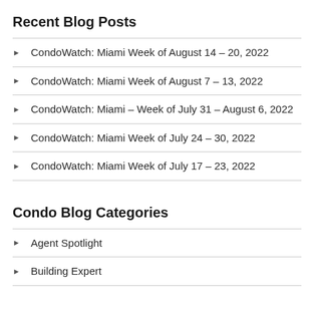Recent Blog Posts
CondoWatch: Miami Week of August 14 – 20, 2022
CondoWatch: Miami Week of August 7 – 13, 2022
CondoWatch: Miami – Week of July 31 – August 6, 2022
CondoWatch: Miami Week of July 24 – 30, 2022
CondoWatch: Miami Week of July 17 – 23, 2022
Condo Blog Categories
Agent Spotlight
Building Expert